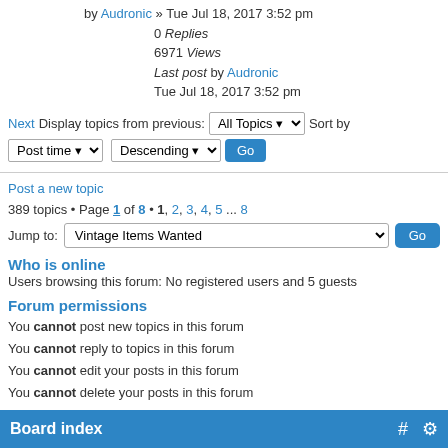by Audronic » Tue Jul 18, 2017 3:52 pm
0 Replies
6971 Views
Last post by Audronic
Tue Jul 18, 2017 3:52 pm
Next Display topics from previous: All Topics Sort by Post time Descending Go
Post a new topic
389 topics • Page 1 of 8 • 1, 2, 3, 4, 5 ... 8
Jump to: Vintage Items Wanted Go
Who is online
Users browsing this forum: No registered users and 5 guests
Forum permissions
You cannot post new topics in this forum
You cannot reply to topics in this forum
You cannot edit your posts in this forum
You cannot delete your posts in this forum
You cannot post attachments in this forum
Switch to full style
Powered by phpBB © phpBB Group.    phpBB Mobile / SEO by Artodia.
Board index  # ⚙